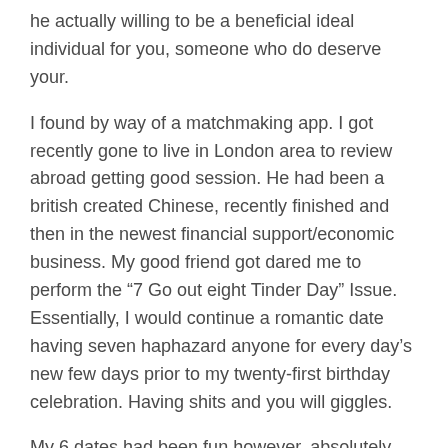he actually willing to be a beneficial ideal individual for you, someone who do deserve your.
I found by way of a matchmaking app. I got recently gone to live in London area to review abroad getting good session. He had been a british created Chinese, recently finished and then in the newest financial support/economic business. My good friend got dared me to perform the “7 Go out eight Tinder Day” Issue. Essentially, I would continue a romantic date having seven haphazard anyone for every day’s new few days prior to my twenty-first birthday celebration. Having shits and you will giggles.
My 6 dates had been fun however, absolutely nothing more, and you can already I am forgetting new confronts of your own guys who shared beverages beside me.
But your. The guy helped me believe that love at first was